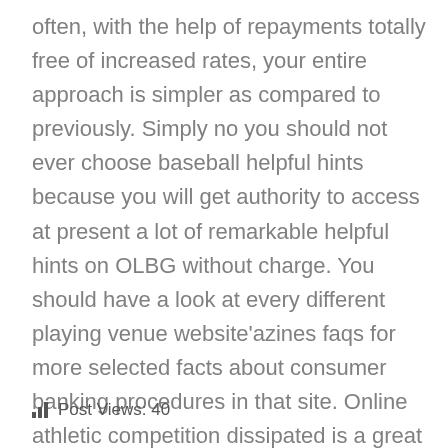often, with the help of repayments totally free of increased rates, your entire approach is simpler as compared to previously. Simply no you should not ever choose baseball helpful hints because you will get authority to access at present a lot of remarkable helpful hints on OLBG without charge. You should have a look at every different playing venue website'azines faqs for more selected facts about consumer banking procedures in that site. Online athletic competition dissipated is a great deal more fashionable every year, with many different bookmakers supplying sporting possibilities and even areas approximately basically everything.
Post Views: 40